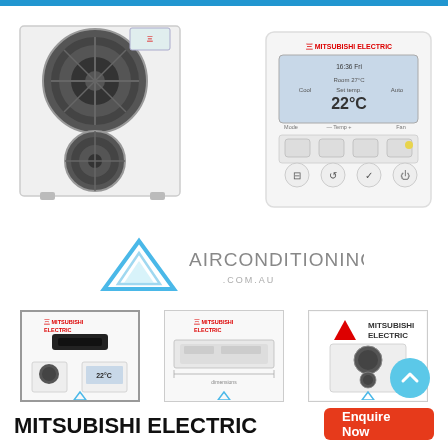[Figure (photo): Mitsubishi Electric outdoor air conditioning unit (two large fans) on left, and Mitsubishi Electric controller/remote display unit on right, white background]
[Figure (logo): AIRCONDITIONING-ONLINE.COM.AU logo with blue triangle icon]
[Figure (photo): Thumbnail 1: Mitsubishi Electric ducted unit and outdoor unit with controller, selected state with border]
[Figure (photo): Thumbnail 2: Mitsubishi Electric ducted indoor unit diagram/schematic]
[Figure (photo): Thumbnail 3: Mitsubishi Electric outdoor unit photo with brand logo]
MITSUBISHI ELECTRIC